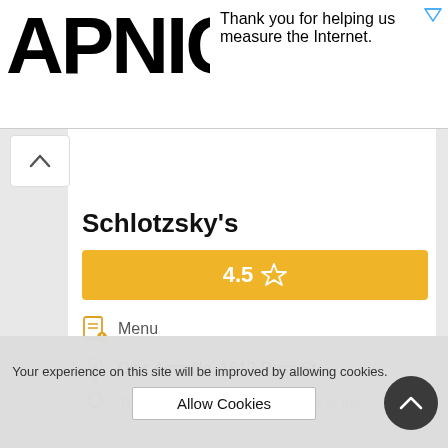[Figure (logo): APNIC logo in large bold black text]
Thank you for helping us measure the Internet.
[Figure (other): Chevron up scroll button]
Schlotzsky's
[Figure (other): Rating bar showing 4.5 with star icon on yellow/gold background]
Menu
City: Amarillo, 1612 Ross St
Your experience on this site will be improved by allowing cookies.
Allow Cookies